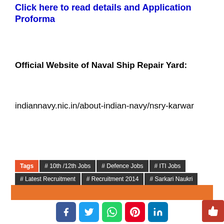Click here to read details and Application Proforma
Official Website of Naval Ship Repair Yard:
indiannavy.nic.in/about-indian-navy/nsry-karwar
Tags  # 10th /12th Jobs  # Defence Jobs  # ITI Jobs  # Latest Recruitment  # Recruitment 2014  # Sarkari Naukri  # Updates
[Figure (infographic): Orange advertisement banner with text YOUR AD SPOT]
[Figure (infographic): Social sharing buttons: Facebook, Twitter, WhatsApp, Pinterest, LinkedIn and a thumbs up button]